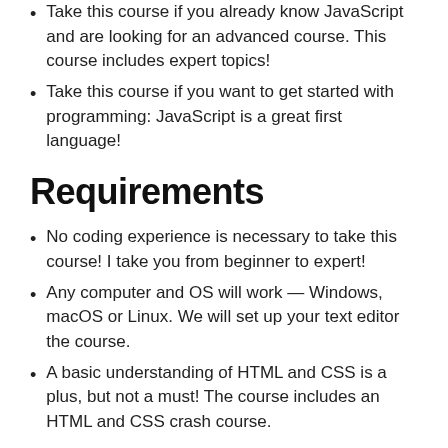Take this course if you already know JavaScript and are looking for an advanced course. This course includes expert topics!
Take this course if you want to get started with programming: JavaScript is a great first language!
Requirements
No coding experience is necessary to take this course! I take you from beginner to expert!
Any computer and OS will work — Windows, macOS or Linux. We will set up your text editor the course.
A basic understanding of HTML and CSS is a plus, but not a must! The course includes an HTML and CSS crash course.